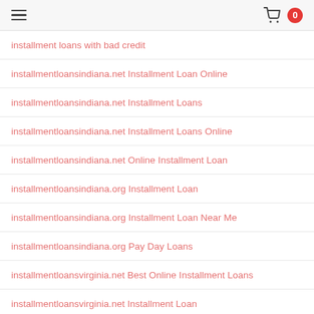Navigation header with hamburger menu and shopping cart with badge 0
installment loans with bad credit
installmentloansindiana.net Installment Loan Online
installmentloansindiana.net Installment Loans
installmentloansindiana.net Installment Loans Online
installmentloansindiana.net Online Installment Loan
installmentloansindiana.org Installment Loan
installmentloansindiana.org Installment Loan Near Me
installmentloansindiana.org Pay Day Loans
installmentloansvirginia.net Best Online Installment Loans
installmentloansvirginia.net Installment Loan